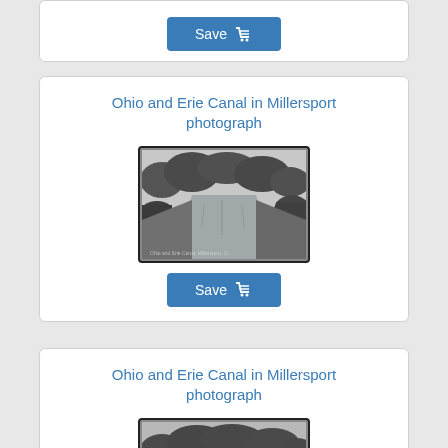[Figure (other): Save button with shopping cart icon (partial card at top)]
Ohio and Erie Canal in Millersport photograph
[Figure (photo): Black and white photograph of Ohio and Erie Canal in Millersport, showing a water canal with trees lining both sides]
[Figure (other): Save button with shopping cart icon]
Ohio and Erie Canal in Millersport photograph
[Figure (photo): Black and white photograph of Ohio and Erie Canal in Millersport, showing a water canal with trees lining both sides (partial, cut off at bottom)]